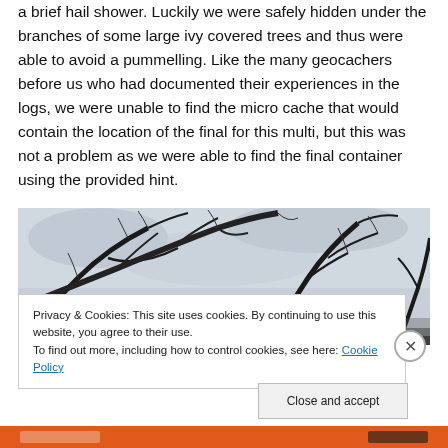a brief hail shower. Luckily we were safely hidden under the branches of some large ivy covered trees and thus were able to avoid a pummelling. Like the many geocachers before us who had documented their experiences in the logs, we were unable to find the micro cache that would contain the location of the final for this multi, but this was not a problem as we were able to find the final container using the provided hint.
[Figure (photo): Photograph of bare winter tree branches against a grey overcast sky, taken from below looking upward.]
Privacy & Cookies: This site uses cookies. By continuing to use this website, you agree to their use. To find out more, including how to control cookies, see here: Cookie Policy
Close and accept